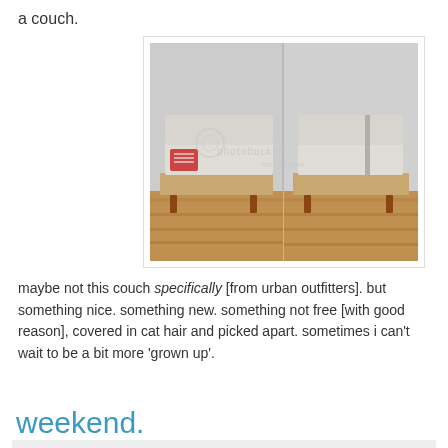a couch.
[Figure (photo): Two side-by-side photos of a low modern sofa/couch with wooden legs on a hardwood floor, against a light wall. Left image shows the couch with a decorative pillow. Photobucket watermark visible.]
maybe not this couch specifically [from urban outfitters]. but something nice. something new. something not free [with good reason], covered in cat hair and picked apart. sometimes i can't wait to be a bit more 'grown up'.
1 comment:
Share
weekend.